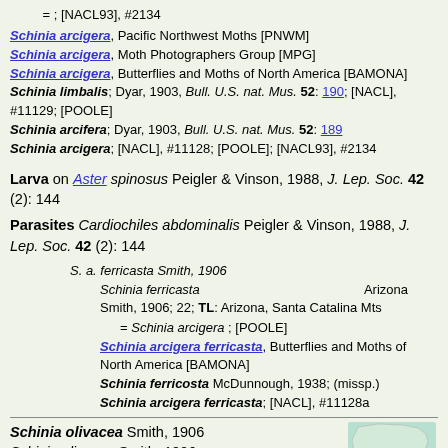= ; [NACL93], #2134
Schinia arcigera, Pacific Northwest Moths [PNWM]
Schinia arcigera, Moth Photographers Group [MPG]
Schinia arcigera, Butterflies and Moths of North America [BAMONA]
Schinia limbalis; Dyar, 1903, Bull. U.S. nat. Mus. 52: 190; [NACL], #11129; [POOLE]
Schinia arcifera; Dyar, 1903, Bull. U.S. nat. Mus. 52: 189
Schinia arcigera; [NACL], #11128; [POOLE]; [NACL93], #2134
Larva on Aster spinosus Peigler & Vinson, 1988, J. Lep. Soc. 42 (2): 144
Parasites Cardiochiles abdominalis Peigler & Vinson, 1988, J. Lep. Soc. 42 (2): 144
S. a. ferricasta Smith, 1906
Schinia ferricasta Smith, 1906; 22; TL: Arizona, Santa Catalina Mts    Arizona
= Schinia arcigera ; [POOLE]
Schinia arcigera ferricasta, Butterflies and Moths of North America [BAMONA]
Schinia ferricosta McDunnough, 1938; (missp.)
Schinia arcigera ferricasta; [NACL], #11128a
Schinia olivacea Smith, 1906
Schinia olivacea Smith, 1906;